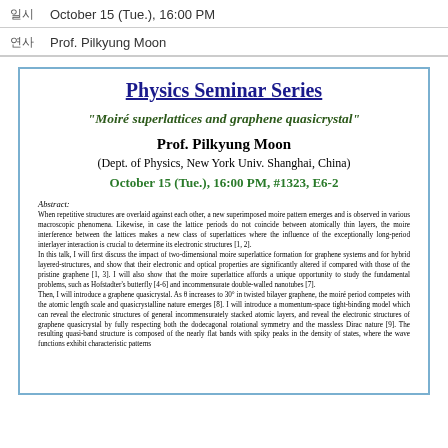| Field | Value |
| --- | --- |
| 일시 | October 15 (Tue.), 16:00 PM |
| 연사 | Prof. Pilkyung Moon |
Physics Seminar Series
"Moiré superlattices and graphene quasicrystal"
Prof. Pilkyung Moon
(Dept. of Physics, New York Univ. Shanghai, China)
October 15 (Tue.), 16:00 PM, #1323, E6-2
Abstract:
When repetitive structures are overlaid against each other, a new superimposed moire pattern emerges and is observed in various macroscopic phenomena. Likewise, in case the lattice periods do not coincide between atomically thin layers, the moire interference between the lattices makes a new class of superlattices where the influence of the exceptionally long-period interlayer interaction is crucial to determine its electronic structures [1, 2]. In this talk, I will first discuss the impact of two-dimensional moire superlattice formation for graphene systems and for hybrid layered-structures, and show that their electronic and optical properties are significantly altered if compared with those of the pristine graphene [1, 3]. I will also show that the moire superlattice affords a unique opportunity to study the fundamental problems, such as Hofstadter's butterfly [4-6] and incommensurate double-walled nanotubes [7]. Then, I will introduce a graphene quasicrystal. As θ increases to 30° in twisted bilayer graphene, the moiré period competes with the atomic length scale and quasicrystalline nature emerges [8]. I will introduce a momentum-space tight-binding model which can reveal the electronic structures of general incommensurately stacked atomic layers, and reveal the electronic structures of graphene quasicrystal by fully respecting both the dodecagonal rotational symmetry and the massless Dirac nature [9]. The resulting quasi-band structure is composed of the nearly flat bands with spiky peaks in the density of states, where the wave functions exhibit characteristic patterns